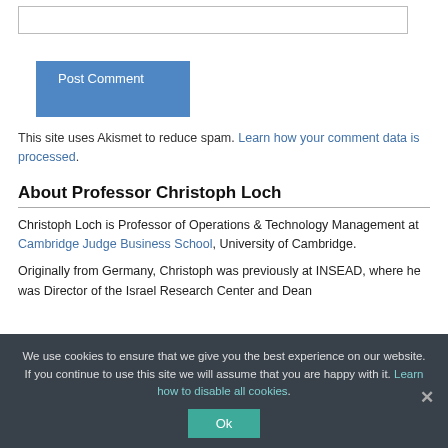[Figure (other): Textarea input box (comment field)]
Post Comment
This site uses Akismet to reduce spam. Learn how your comment data is processed.
About Professor Christoph Loch
Christoph Loch is Professor of Operations & Technology Management at Cambridge Judge Business School, University of Cambridge.
Originally from Germany, Christoph was previously at INSEAD, where he was Director of the Israel Research Center and Dean
We use cookies to ensure that we give you the best experience on our website. If you continue to use this site we will assume that you are happy with it. Learn how to disable all cookies.
Ok